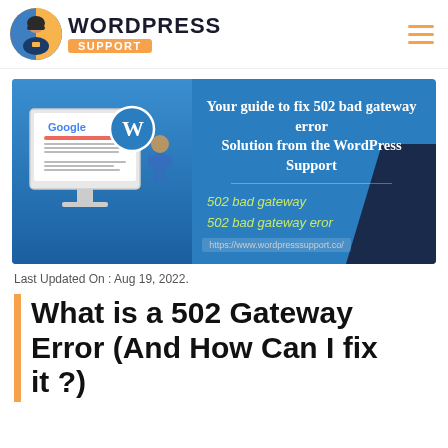[Figure (logo): WordPress Support logo with circular avatar icon and orange support badge]
[Figure (illustration): Banner image showing a guide to fix 502 bad gateway error with a monitor displaying Google error page, WordPress logo, and text: 'Your guide to fix 502 bad gateway error Solution from the WordPress Support', '502 bad gateway', '502 bad gateway eror', 'https://www.wordpresssupport.co/']
Last Updated On : Aug 19, 2022.
What is a 502 Gateway Error (And How Can I fix it ?)